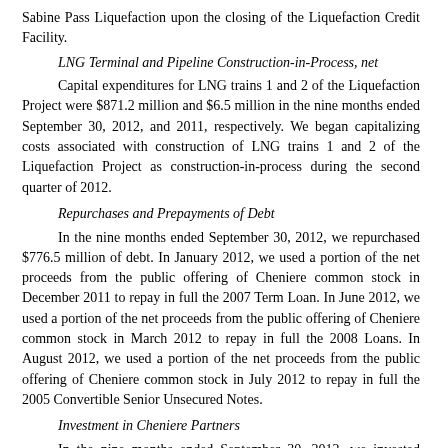Sabine Pass Liquefaction upon the closing of the Liquefaction Credit Facility.
LNG Terminal and Pipeline Construction-in-Process, net
Capital expenditures for LNG trains 1 and 2 of the Liquefaction Project were $871.2 million and $6.5 million in the nine months ended September 30, 2012, and 2011, respectively. We began capitalizing costs associated with construction of LNG trains 1 and 2 of the Liquefaction Project as construction-in-process during the second quarter of 2012.
Repurchases and Prepayments of Debt
In the nine months ended September 30, 2012, we repurchased $776.5 million of debt. In January 2012, we used a portion of the net proceeds from the public offering of Cheniere common stock in December 2011 to repay in full the 2007 Term Loan. In June 2012, we used a portion of the net proceeds from the public offering of Cheniere common stock in March 2012 to repay in full the 2008 Loans. In August 2012, we used a portion of the net proceeds from the public offering of Cheniere common stock in July 2012 to repay in full the 2005 Convertible Senior Unsecured Notes.
Investment in Cheniere Partners
In the nine months ended September 30, 2012, we invested $534.9 million in Cheniere Partners related to the purchase of Class B Units and general partner units.
Operating Cash Flow